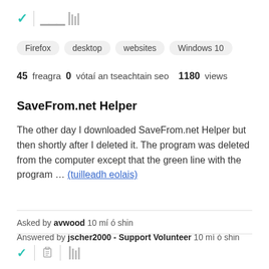[Figure (other): Browser UI top bar with green checkmark, vertical divider, and library/stack icon]
Firefox
desktop
websites
Windows 10
45 freagra  0  vótaí an tseachtain seo  1180  views
SaveFrom.net Helper
The other day I downloaded SaveFrom.net Helper but then shortly after I deleted it. The program was deleted from the computer except that the green line with the program … (tuilleadh eolais)
Asked by avwood 10 mí ó shin
Answered by jscher2000 - Support Volunteer 10 mí ó shin
[Figure (other): Browser UI bottom bar with green checkmark, vertical divider, lock icon, and library/stack icon]